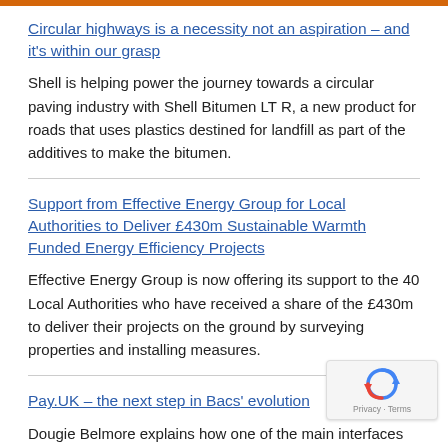Circular highways is a necessity not an aspiration – and it's within our grasp
Shell is helping power the journey towards a circular paving industry with Shell Bitumen LT R, a new product for roads that uses plastics destined for landfill as part of the additives to make the bitumen.
Support from Effective Energy Group for Local Authorities to Deliver £430m Sustainable Warmth Funded Energy Efficiency Projects
Effective Energy Group is now offering its support to the 40 Local Authorities who have received a share of the £430m to deliver their projects on the ground by surveying properties and installing measures.
Pay.UK – the next step in Bacs' evolution
Dougie Belmore explains how one of the main interfaces between you and Bacs is about to change.